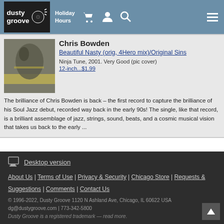dusty groove | Holiday Hours
Chris Bowden
Beautiful Nasty (orig, 4Hero mix)/Original Sins
Ninja Tune, 2001. Very Good (pic cover)
12-inch...$1.99
The brilliance of Chris Bowden is back – the first record to capture the brilliance of his Soul Jazz debut, recorded way back in the early 90s! The single, like that record, is a brilliant assemblage of jazz, strings, sound, beats, and a cosmic musical vision that takes us back to the early ...
Desktop version
About Us | Terms of Use | Privacy & Security | Chicago Store | Requests & Suggestions | Comments | Contact Us
© 1996-2022, Dusty Groove 1120 N Ashland Ave, Chicago, IL 60622 USA
dg@dustygroove.com | 773-342-5800
Dusty Groove is a registered trademark — read more.